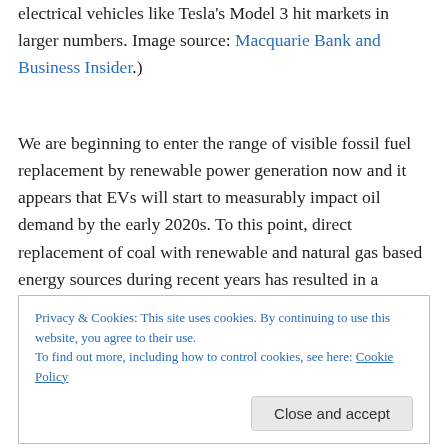electrical vehicles like Tesla's Model 3 hit markets in larger numbers. Image source: Macquarie Bank and Business Insider.)
We are beginning to enter the range of visible fossil fuel replacement by renewable power generation now and it appears that EVs will start to measurably impact oil demand by the early 2020s. To this point, direct replacement of coal with renewable and natural gas based energy sources during recent years has resulted in a considerable slowing in the rate of carbon emissions
Privacy & Cookies: This site uses cookies. By continuing to use this website, you agree to their use. To find out more, including how to control cookies, see here: Cookie Policy
Close and accept